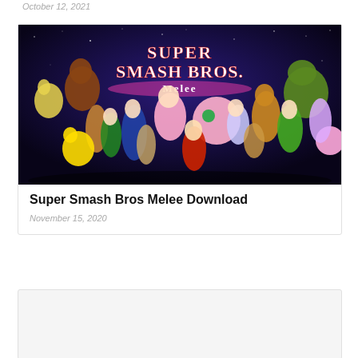October 12, 2021
[Figure (photo): Super Smash Bros Melee promotional artwork showing all game characters assembled together against a dark space background with the game logo at the top.]
Super Smash Bros Melee Download
November 15, 2020